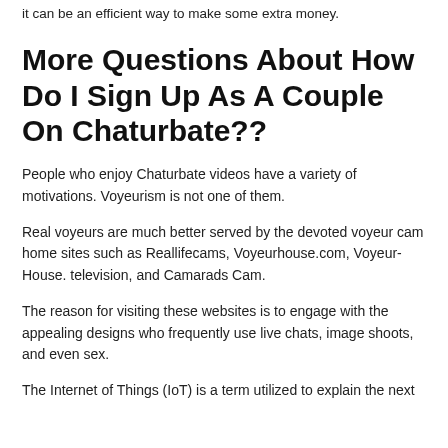it can be an efficient way to make some extra money.
More Questions About How Do I Sign Up As A Couple On Chaturbate??
People who enjoy Chaturbate videos have a variety of motivations. Voyeurism is not one of them.
Real voyeurs are much better served by the devoted voyeur cam home sites such as Reallifecams, Voyeurhouse.com, Voyeur-House. television, and Camarads Cam.
The reason for visiting these websites is to engage with the appealing designs who frequently use live chats, image shoots, and even sex.
The Internet of Things (IoT) is a term utilized to explain the next